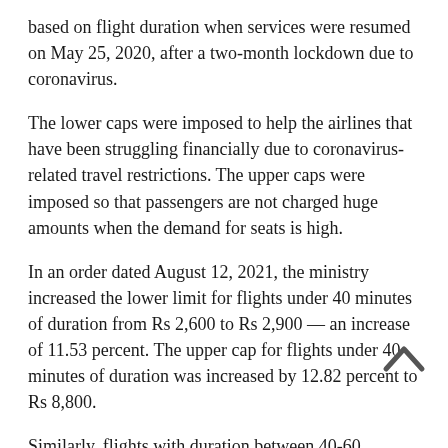based on flight duration when services were resumed on May 25, 2020, after a two-month lockdown due to coronavirus.
The lower caps were imposed to help the airlines that have been struggling financially due to coronavirus-related travel restrictions. The upper caps were imposed so that passengers are not charged huge amounts when the demand for seats is high.
In an order dated August 12, 2021, the ministry increased the lower limit for flights under 40 minutes of duration from Rs 2,600 to Rs 2,900 — an increase of 11.53 percent. The upper cap for flights under 40 minutes of duration was increased by 12.82 percent to Rs 8,800.
Similarly, flights with duration between 40-60